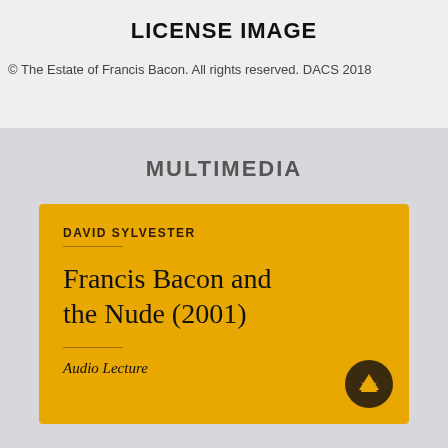LICENSE IMAGE
© The Estate of Francis Bacon. All rights reserved. DACS 2018
MULTIMEDIA
[Figure (other): Book/audio product card with yellow/amber background showing author David Sylvester and title 'Francis Bacon and the Nude (2001)', labeled as Audio Lecture, with a circular arrow-up icon]